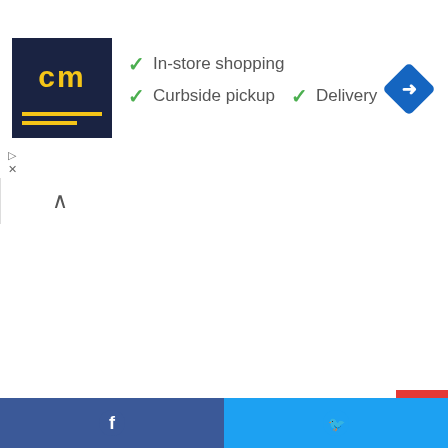[Figure (screenshot): Advertisement banner with CM logo (dark blue square with yellow 'cm' text), checkmark features: In-store shopping, Curbside pickup, Delivery, and a blue navigation arrow icon]
[Figure (screenshot): Collapse/chevron-up tab button on left, white content blank area]
Today we are going to do Valentine's Day Background or 14 February Background Special Photo Editing Background in this article with the help of the PicsArt app. This article also includes Valentine's Day Background or 14 February Background Special Photo Editing Background PNG. Like a Love poster editing
[Figure (screenshot): Social share bar with Facebook and Twitter buttons at bottom]